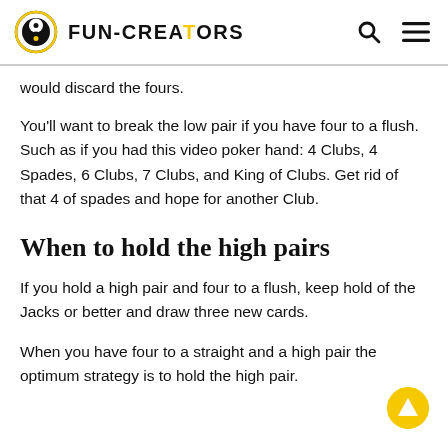FUN-CREATORS
would discard the fours.
You'll want to break the low pair if you have four to a flush. Such as if you had this video poker hand: 4 Clubs, 4 Spades, 6 Clubs, 7 Clubs, and King of Clubs. Get rid of that 4 of spades and hope for another Club.
When to hold the high pairs
If you hold a high pair and four to a flush, keep hold of the Jacks or better and draw three new cards.
When you have four to a straight and a high pair the optimum strategy is to hold the high pair.